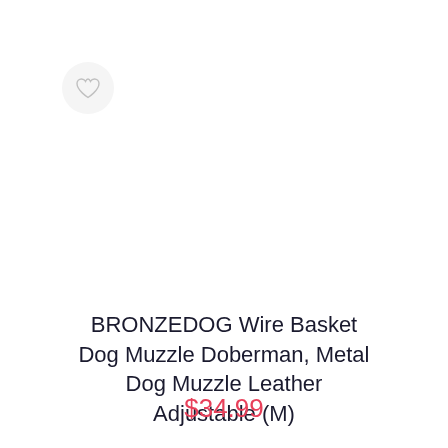[Figure (illustration): Heart/wishlist icon inside a circular light gray button, positioned at top-left of the product card]
BRONZEDOG Wire Basket Dog Muzzle Doberman, Metal Dog Muzzle Leather Adjustable (M)
$34.99